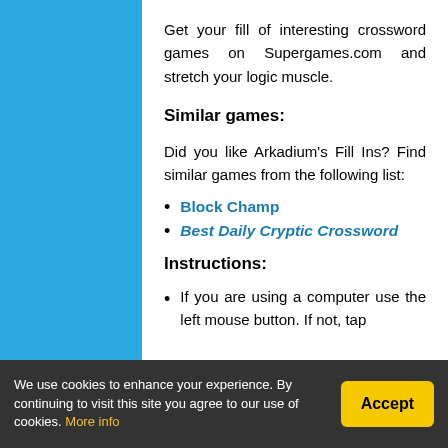Get your fill of interesting crossword games on Supergames.com and stretch your logic muscle.
Similar games:
Did you like Arkadium's Fill Ins? Find similar games from the following list:
Block Champ
Best Daily Cryptic Crossword
Instructions:
If you are using a computer use the left mouse button. If not, tap
We use cookies to enhance your experience. By continuing to visit this site you agree to our use of cookies. More info